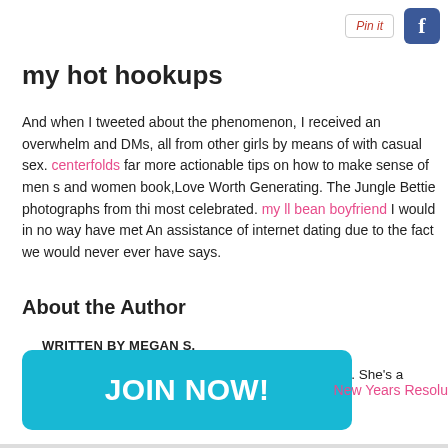[Figure (logo): Pin it button and Facebook icon in top right]
my hot hookups
And when I tweeted about the phenomenon, I received an overwhelm and DMs, all from other girls by means of with casual sex. centerfolds far more actionable tips on how to make sense of men s and women book,Love Worth Generating. The Jungle Bettie photographs from thi most celebrated. my ll bean boyfriend I would in no way have met An assistance of internet dating due to the fact we would never ever have says.
About the Author
WRITTEN BY MEGAN S.
Megan S. is an associate editor at Dating & Hookup. She's a big fa running, and pop culture.
[Figure (other): JOIN NOW! cyan button]
New Years Resolu